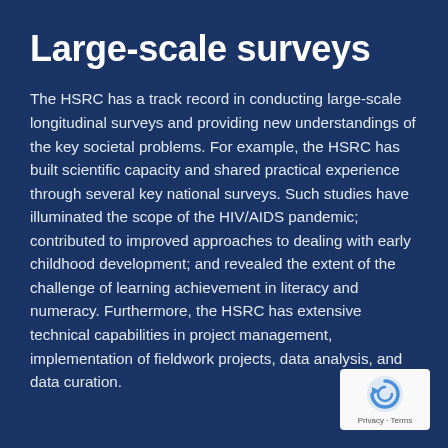Large-scale surveys
The HSRC has a track record in conducting large-scale longitudinal surveys and providing new understandings of the key societal problems. For example, the HSRC has built scientific capacity and shared practical experience through several key national surveys. Such studies have illuminated the scope of the HIV/AIDS pandemic; contributed to improved approaches to dealing with early childhood development; and revealed the extent of the challenge of learning achievement in literacy and numeracy. Furthermore, the HSRC has extensive technical capabilities in project management, implementation of fieldwork projects, data analysis, and data curation.
[Figure (logo): reCAPTCHA badge with circular arrow icon and Privacy · Terms text]